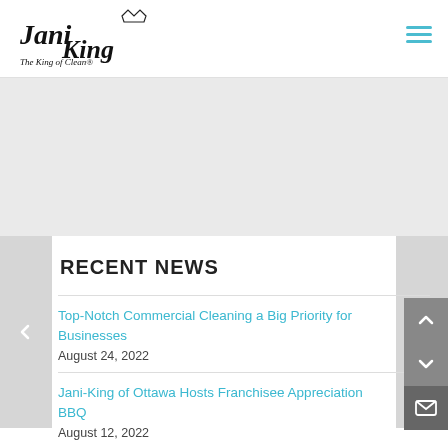[Figure (logo): Jani-King logo with crown and tagline 'The King of Clean']
RECENT NEWS
Top-Notch Commercial Cleaning a Big Priority for Businesses
August 24, 2022
Jani-King of Ottawa Hosts Franchisee Appreciation BBQ
August 12, 2022